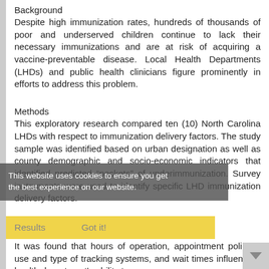Background
Despite high immunization rates, hundreds of thousands of poor and underserved children continue to lack their necessary immunizations and are at risk of acquiring a vaccine-preventable disease. Local Health Departments (LHDs) and public health clinicians figure prominently in efforts to address this problem.
Methods
This exploratory research compared ten (10) North Carolina LHDs with respect to immunization delivery factors. The study sample was identified based on urban designation as well as county demographic and socio-economic indicators that identified predicted “pockets” of underimmunization. Survey instruments were used to identify specific LHD immunization delivery factors.
Results
It was found that hours of operation, appointment policies, use and type of tracking systems, and wait times influence a health department’s ability to